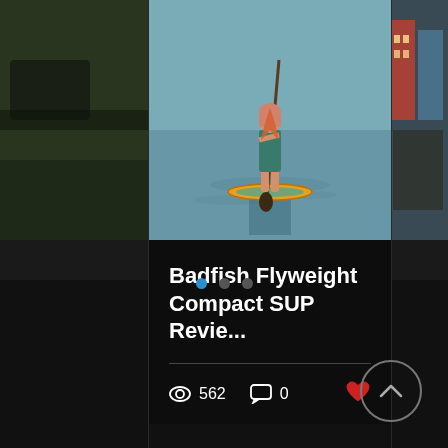[Figure (photo): Screenshot of a blog/website card showing a paddleboarder on water. The card has a photo of a person standing on a SUP board on a lake, holding a paddle, wearing a swimsuit. Below the photo is a dark background with the article title, a divider, view count (562), comment count (0), and a heart/like button. Navigation dots appear below the card. A scroll-to-top button is visible at bottom right.]
Badfish Flyweight Compact SUP Revie...
562
0